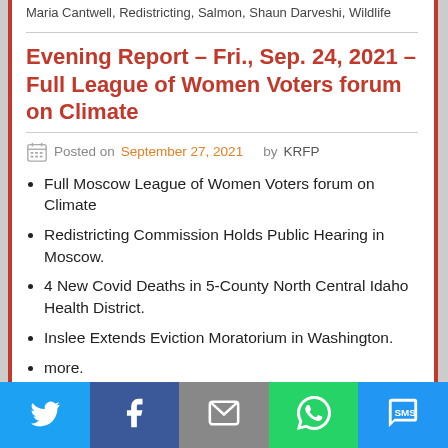Maria Cantwell, Redistricting, Salmon, Shaun Darveshi, Wildlife
Evening Report – Fri., Sep. 24, 2021 – Full League of Women Voters forum on Climate
Posted on September 27, 2021  by KRFP
Full Moscow League of Women Voters forum on Climate
Redistricting Commission Holds Public Hearing in Moscow.
4 New Covid Deaths in 5-County North Central Idaho Health District.
Inslee Extends Eviction Moratorium in Washington.
more.